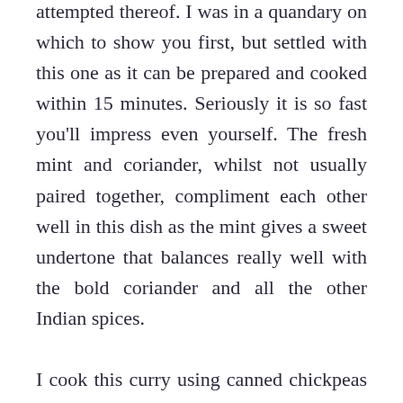attempted thereof. I was in a quandary on which to show you first, but settled with this one as it can be prepared and cooked within 15 minutes. Seriously it is so fast you'll impress even yourself. The fresh mint and coriander, whilst not usually paired together, compliment each other well in this dish as the mint gives a sweet undertone that balances really well with the bold coriander and all the other Indian spices.

I cook this curry using canned chickpeas (shock horror), which will